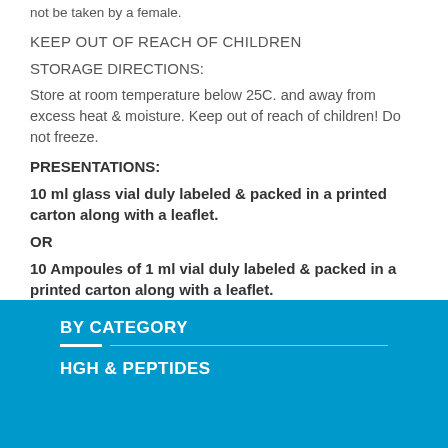not be taken by a female.
KEEP OUT OF REACH OF CHILDREN
STORAGE DIRECTIONS:
Store at room temperature below 25C. and away from excess heat & moisture. Keep out of reach of children! Do not freeze.
PRESENTATIONS:
10 ml glass vial duly labeled & packed in a printed carton along with a leaflet.
OR
10 Ampoules of 1 ml vial duly labeled & packed in a printed carton along with a leaflet.
BY CATEGORY
HGH & PEPTIDES